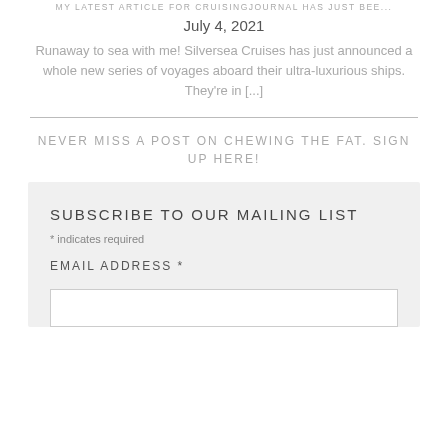MY LATEST ARTICLE FOR CRUISINGJOURNAL HAS JUST BEE...
July 4, 2021
Runaway to sea with me! Silversea Cruises has just announced a whole new series of voyages aboard their ultra-luxurious ships. They're in [...]
NEVER MISS A POST ON CHEWING THE FAT. SIGN UP HERE!
SUBSCRIBE TO OUR MAILING LIST
* indicates required
EMAIL ADDRESS *